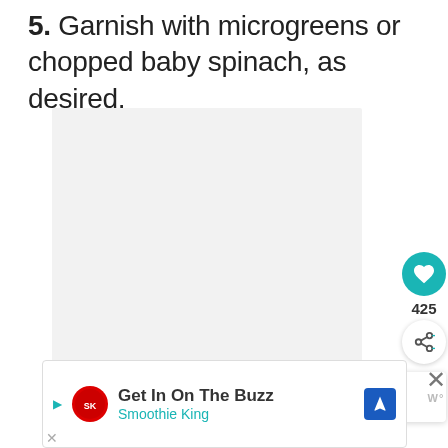5. Garnish with microgreens or chopped baby spinach, as desired.
[Figure (photo): Placeholder image area with three small gray squares in the center, representing a loading or blank recipe photo.]
425
WHAT'S NEXT → Quick Pork and Peanut...
Get In On The Buzz
Smoothie King